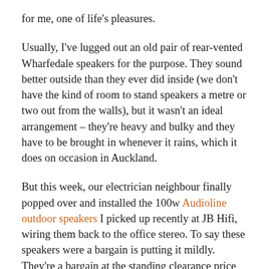for me, one of life's pleasures.
Usually, I've lugged out an old pair of rear-vented Wharfedale speakers for the purpose. They sound better outside than they ever did inside (we don't have the kind of room to stand speakers a metre or two out from the walls), but it wasn't an ideal arrangement – they're heavy and bulky and they have to be brought in whenever it rains, which it does on occasion in Auckland.
But this week, our electrician neighbour finally popped over and installed the 100w Audioline outdoor speakers I picked up recently at JB Hifi, wiring them back to the office stereo. To say these speakers were a bargain is putting it mildly. They're a bargain at the standing clearance price of $91 – on 30%-off-marked-price day they were just stupidly cheap. And, quite frankly, they